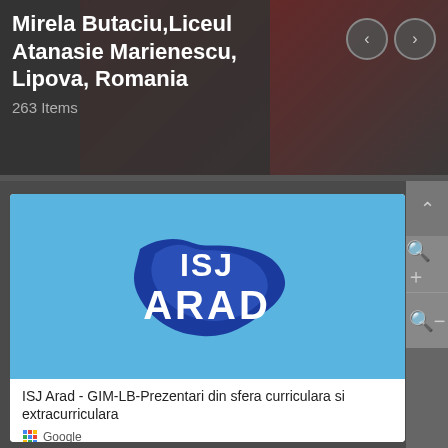Mirela Butaciu, Liceul Atanasie Marienescu, Lipova, Romania
263 Items
[Figure (logo): ISJ ARAD logo — blue oval with map shape of Arad county, white text ISJ on top and ARAD below]
ISJ Arad - GIM-LB-Prezentari din sfera curriculara si extracurriculara
Google